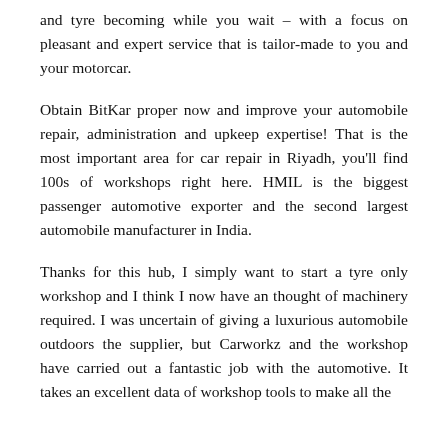and tyre becoming while you wait – with a focus on pleasant and expert service that is tailor-made to you and your motorcar.
Obtain BitKar proper now and improve your automobile repair, administration and upkeep expertise! That is the most important area for car repair in Riyadh, you'll find 100s of workshops right here. HMIL is the biggest passenger automotive exporter and the second largest automobile manufacturer in India.
Thanks for this hub, I simply want to start a tyre only workshop and I think I now have an thought of machinery required. I was uncertain of giving a luxurious automobile outdoors the supplier, but Carworkz and the workshop have carried out a fantastic job with the automotive. It takes an excellent data of workshop tools to make all the